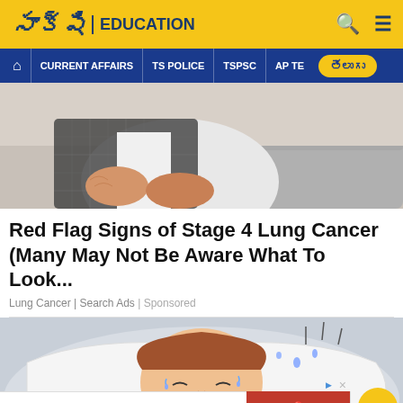సాక్షి EDUCATION
[Figure (screenshot): Navigation bar with CURRENT AFFAIRS, TS POLICE, TSPSC, AP TE menu items and Telugu button]
[Figure (photo): Person holding abdomen area, wearing plaid shirt over white shirt, sitting on couch]
Red Flag Signs of Stage 4 Lung Cancer (Many May Not Be Aware What To Look...
Lung Cancer | Search Ads | Sponsored
[Figure (illustration): Cartoon illustration of a person sweating on a pillow, with an ad banner for Chipotle at the bottom saying A BETTER PLACE TO EAT AND WORK, JOIN OUR RESTAURANT CREW]